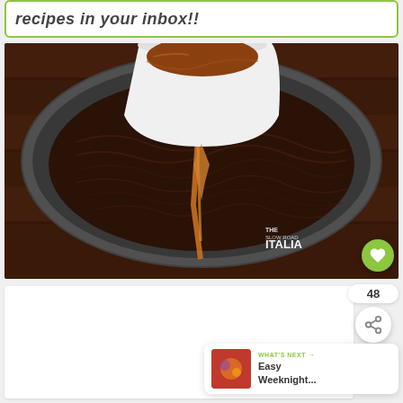recipes in your inbox!!
[Figure (photo): Overhead view of a slow cooker with caramelized onions and a white cup pouring dark liquid (soy sauce or broth) into the cooker. Slow Road Italia watermark visible in bottom right corner.]
48
[Figure (other): Share button icon (circular with dots and lines)]
WHAT'S NEXT → Easy Weeknight...
[Figure (photo): Thumbnail image for Easy Weeknight recipe with colorful spices]